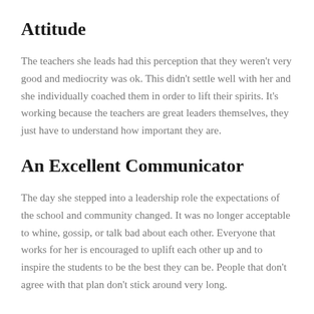Attitude
The teachers she leads had this perception that they weren't very good and mediocrity was ok. This didn't settle well with her and she individually coached them in order to lift their spirits. It's working because the teachers are great leaders themselves, they just have to understand how important they are.
An Excellent Communicator
The day she stepped into a leadership role the expectations of the school and community changed. It was no longer acceptable to whine, gossip, or talk bad about each other. Everyone that works for her is encouraged to uplift each other up and to inspire the students to be the best they can be. People that don't agree with that plan don't stick around very long.
An Honest Person